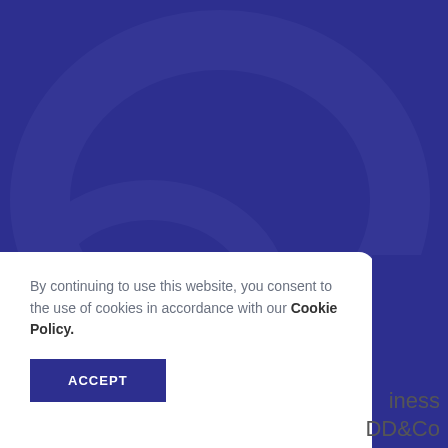[Figure (illustration): Dark blue/navy background with subtle watermark-style graphic element, covering the upper portion of the page]
By continuing to use this website, you consent to the use of cookies in accordance with our Cookie Policy.
ACCEPT
iness DD&Co